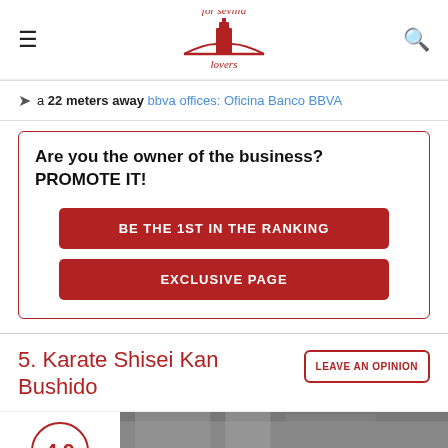for sevilla lovers
a 22 meters away bbva offices: Oficina Banco BBVA
Are you the owner of the business? PROMOTE IT!
BE THE 1ST IN THE RANKING
EXCLUSIVE PAGE
5. Karate Shisei Kan Bushido
LEAVE AN OPINION
4.9
29 reviews